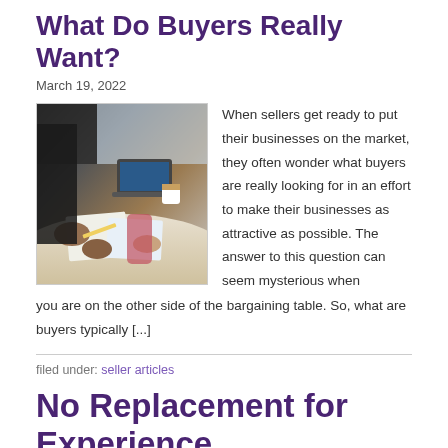What Do Buyers Really Want?
March 19, 2022
[Figure (photo): Business meeting photo showing people working at a table with a laptop, papers, and coffee cup]
When sellers get ready to put their businesses on the market, they often wonder what buyers are really looking for in an effort to make their businesses as attractive as possible. The answer to this question can seem mysterious when you are on the other side of the bargaining table. So, what are buyers typically [...]
filed under: seller articles
No Replacement for Experience